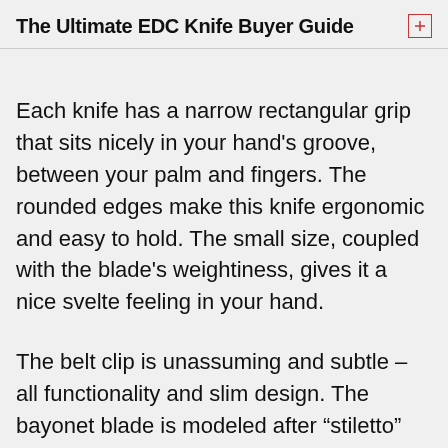The Ultimate EDC Knife Buyer Guide
Each knife has a narrow rectangular grip that sits nicely in your hand’s groove, between your palm and fingers. The rounded edges make this knife ergonomic and easy to hold. The small size, coupled with the blade’s weightiness, gives it a nice svelte feeling in your hand.
The belt clip is unassuming and subtle – all functionality and slim design. The bayonet blade is modeled after “stiletto” blades of the past. With an insanely sharp tip, this knife can pierce through just about anything (and look great while